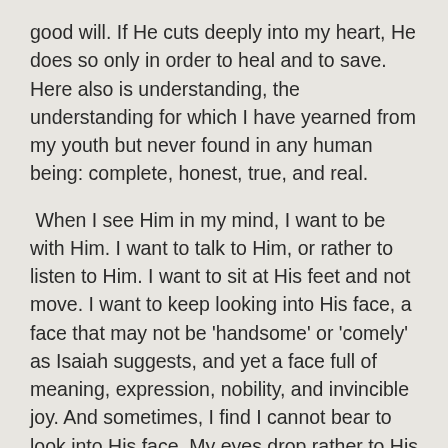good will. If He cuts deeply into my heart, He does so only in order to heal and to save. Here also is understanding, the understanding for which I have yearned from my youth but never found in any human being: complete, honest, true, and real.
When I see Him in my mind, I want to be with Him. I want to talk to Him, or rather to listen to Him. I want to sit at His feet and not move. I want to keep looking into His face, a face that may not be 'handsome' or 'comely' as Isaiah suggests, and yet a face full of meaning, expression, nobility, and invincible joy. And sometimes, I find I cannot bear to look into His face. My eyes drop rather to His feet as I remember the shame of my sins and my betrayals. Then I want to bow before Him and let my tears drip softly onto His feet. These tears speak more eloquently of my